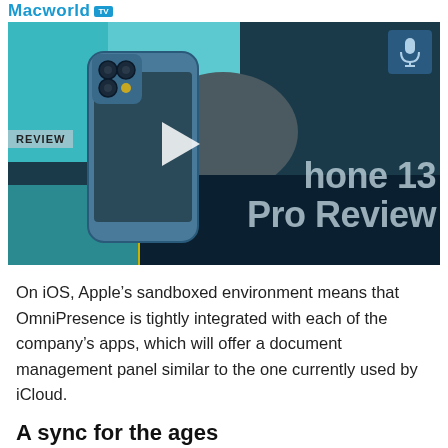Macworld TV
[Figure (screenshot): Video thumbnail showing iPhone 13 Pro Review on Macworld TV. The thumbnail shows a blue iPhone 13 Pro lying on colorful textiles. Text overlay reads 'REVIEW' and 'iPhone 13 Pro Review' with a play button.]
On iOS, Apple’s sandboxed environment means that OmniPresence is tightly integrated with each of the company’s apps, which will offer a document management panel similar to the one currently used by iCloud.
A sync for the ages